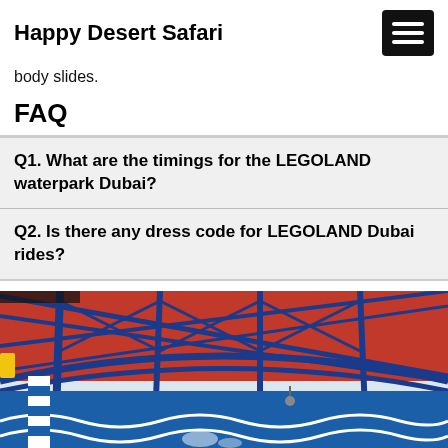Happy Desert Safari
body slides.
FAQ
Q1. What are the timings for the LEGOLAND waterpark Dubai?
Q2. Is there any dress code for LEGOLAND Dubai rides?
[Figure (photo): Exterior photo of LEGOLAND waterpark Dubai showing a red and blue steel canopy structure over the entrance with blue and white decorative elements]